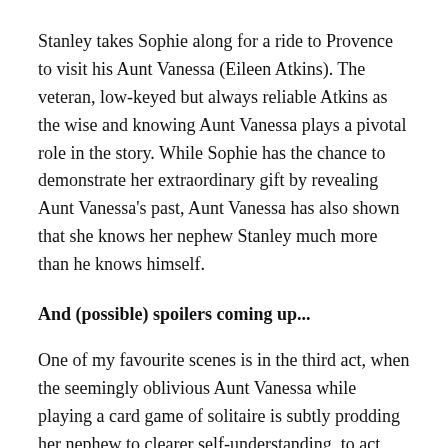Stanley takes Sophie along for a ride to Provence to visit his Aunt Vanessa (Eileen Atkins). The veteran, low-keyed but always reliable Atkins as the wise and knowing Aunt Vanessa plays a pivotal role in the story. While Sophie has the chance to demonstrate her extraordinary gift by revealing Aunt Vanessa's past, Aunt Vanessa has also shown that she knows her nephew Stanley much more than he knows himself.
And (possible) spoilers coming up...
One of my favourite scenes is in the third act, when the seemingly oblivious Aunt Vanessa while playing a card game of solitaire is subtly prodding her nephew to clearer self-understanding, to act upon his heart rather than relying only on his rationale. This one reminds me of a nuanced and endearing